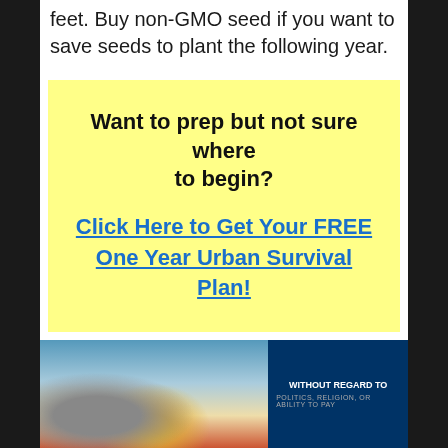feet. Buy non-GMO seed if you want to save seeds to plant the following year.
Want to prep but not sure where to begin?
Click Here to Get Your FREE One Year Urban Survival Plan!
[Figure (photo): Advertisement banner showing an airplane being loaded with cargo, with a dark blue panel on the right reading 'WITHOUT REGARD TO' with smaller text below]